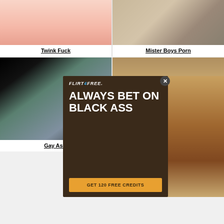[Figure (screenshot): Thumbnail image for Twink Fuck video]
Twink Fuck
[Figure (screenshot): Thumbnail image for Mister Boys Porn video]
Mister Boys Porn
[Figure (screenshot): Thumbnail image for Gay As... video]
Gay As...
[Figure (screenshot): Thumbnail for right bottom video]
[Figure (infographic): Flirt4Free advertisement overlay: ALWAYS BET ON BLACK ASS, GET 120 FREE CREDITS]